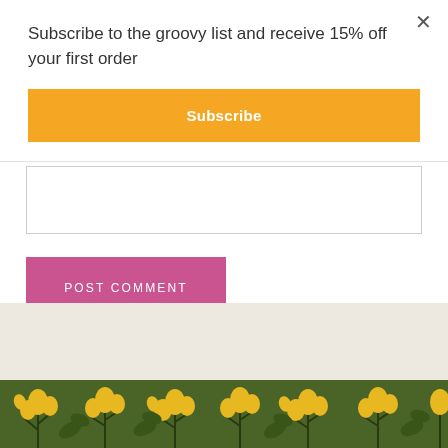Subscribe to the groovy list and receive 15% off your first order
Subscribe
POST COMMENT
[Figure (illustration): Floral pattern banner with yellow flowers on a dark green background, partially visible at the bottom of the page, against a beige/cream background section]